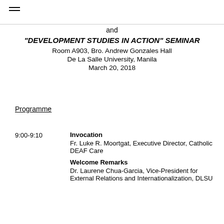≡
and
"DEVELOPMENT STUDIES IN ACTION" SEMINAR
Room A903, Bro. Andrew Gonzales Hall
De La Salle University, Manila
March 20, 2018
Programme
9:00-9:10   Invocation
Fr. Luke R. Moortgat, Executive Director, Catholic DEAF Care
Welcome Remarks
Dr. Laurene Chua-Garcia, Vice-President for External Relations and Internationalization, DLSU